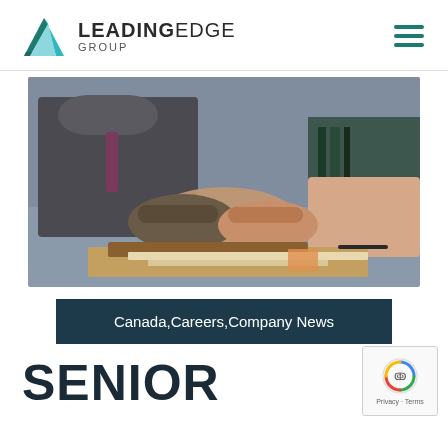LEADINGEDGE GROUP
[Figure (photo): Two people shaking hands across a desk with documents and binders, business meeting setting]
Canada,Careers,Company News
SENIOR